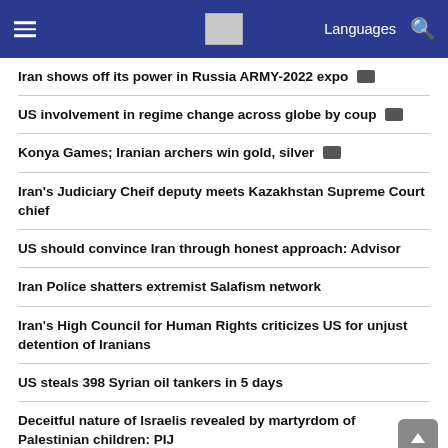Languages
Iran shows off its power in Russia ARMY-2022 expo [video]
US involvement in regime change across globe by coup [video]
Konya Games; Iranian archers win gold, silver [video]
Iran's Judiciary Cheif deputy meets Kazakhstan Supreme Court chief
US should convince Iran through honest approach: Advisor
Iran Police shatters extremist Salafism network
Iran's High Council for Human Rights criticizes US for unjust detention of Iranians
US steals 398 Syrian oil tankers in 5 days
Deceitful nature of Israelis revealed by martyrdom of Palestinian children: PIJ